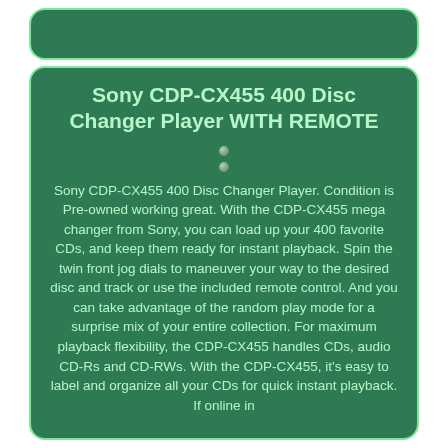[Figure (other): Dark green rounded rectangle top bar with light green border]
Sony CDP-CX455 400 Disc Changer Player WITH REMOTE
Sony CDP-CX455 400 Disc Changer Player. Condition is Pre-owned working great. With the CDP-CX455 mega changer from Sony, you can load up your 400 favorite CDs, and keep them ready for instant playback. Spin the twin front jog dials to maneuver your way to the desired disc and track or use the included remote control. And you can take advantage of the random play mode for a surprise mix of your entire collection. For maximum playback flexibility, the CDP-CX455 handles CDs, audio CD-Rs and CD-RWs. With the CDP-CX455, it's easy to label and organize all your CDs for quick instant playback. If online in